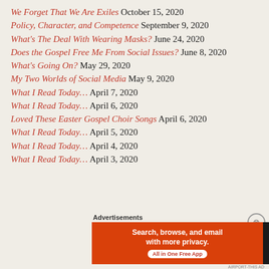We Forget That We Are Exiles October 15, 2020
Policy, Character, and Competence September 9, 2020
What's The Deal With Wearing Masks? June 24, 2020
Does the Gospel Free Me From Social Issues? June 8, 2020
What's Going On? May 29, 2020
My Two Worlds of Social Media May 9, 2020
What I Read Today… April 7, 2020
What I Read Today… April 6, 2020
Loved These Easter Gospel Choir Songs April 6, 2020
What I Read Today… April 5, 2020
What I Read Today… April 4, 2020
What I Read Today… April 3, 2020
[Figure (infographic): DuckDuckGo advertisement banner: 'Search, browse, and email with more privacy. All in One Free App' with DuckDuckGo logo on dark background]
Advertisements
AIRPORT-THIS AD